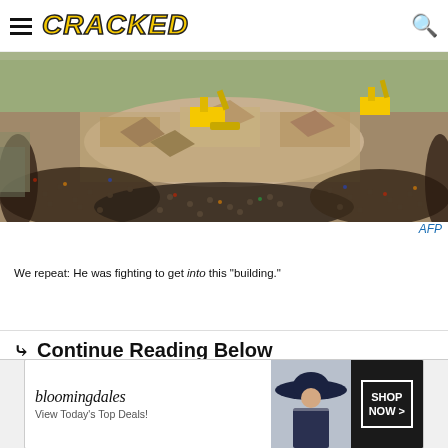CRACKED
[Figure (photo): Aerial view of a collapsed building rubble site with large crowds of people surrounding it and yellow excavators/cranes working at the center of the debris field.]
AFP
We repeat: He was fighting to get into this "building."
Continue Reading Below
[Figure (photo): Bloomingdale's advertisement banner: 'bloomingdales / View Today's Top Deals!' with a woman wearing a large hat and a Shop Now button.]